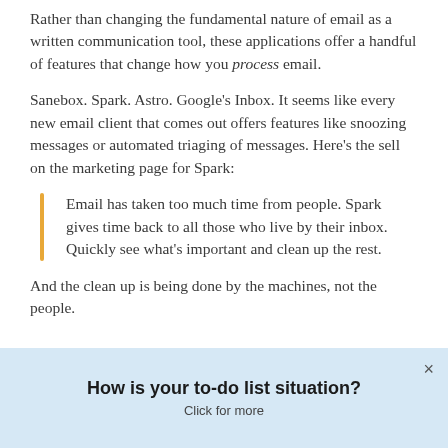Rather than changing the fundamental nature of email as a written communication tool, these applications offer a handful of features that change how you process email.
Sanebox. Spark. Astro. Google's Inbox. It seems like every new email client that comes out offers features like snoozing messages or automated triaging of messages. Here's the sell on the marketing page for Spark:
Email has taken too much time from people. Spark gives time back to all those who live by their inbox. Quickly see what's important and clean up the rest.
And the clean up is being done by the machines, not the people.
How is your to-do list situation?
Click for more